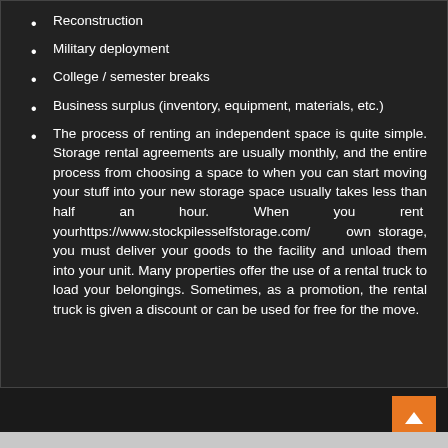Reconstruction
Military deployment
College / semester breaks
Business surplus (inventory, equipment, materials, etc.)
The process of renting an independent space is quite simple. Storage rental agreements are usually monthly, and the entire process from choosing a space to when you can start moving your stuff into your new storage space usually takes less than half an hour. When you rent yourhttps://www.stockpilesselfstorage.com/ own storage, you must deliver your goods to the facility and unload them into your unit. Many properties offer the use of a rental truck to load your belongings. Sometimes, as a promotion, the rental truck is given a discount or can be used for free for the move.